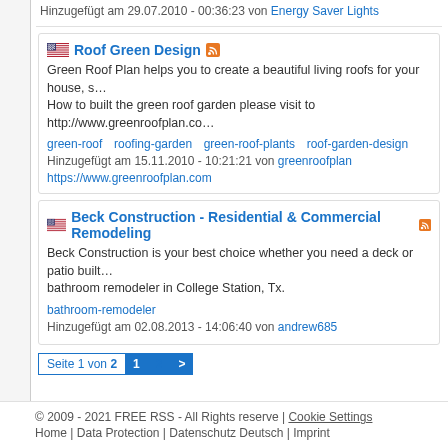Hinzugefügt am 29.07.2010 - 00:36:23 von Energy Saver Lights
Roof Green Design
Green Roof Plan helps you to create a beautiful living roofs for your house, s… How to built the green roof garden please visit to http://www.greenroofplan.co…
green-roof   roofing-garden   green-roof-plants   roof-garden-design
Hinzugefügt am 15.11.2010 - 10:21:21 von greenroofplan
https://www.greenroofplan.com
Beck Construction - Residential & Commercial Remodeling
Beck Construction is your best choice whether you need a deck or patio built… bathroom remodeler in College Station, Tx.
bathroom-remodeler
Hinzugefügt am 02.08.2013 - 14:06:40 von andrew685
Seite 1 von 2  1  2  >
© 2009 - 2021 FREE RSS - All Rights reserve | Cookie Settings
Home | Data Protection | Datenschutz Deutsch | Imprint